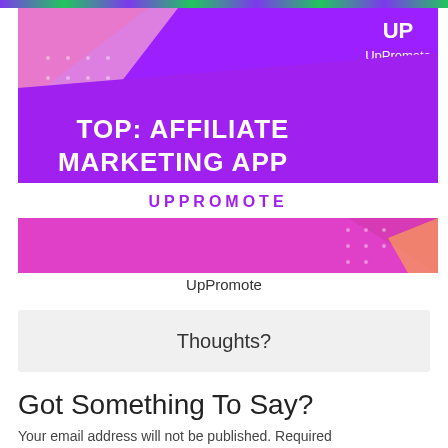[Figure (infographic): UpPromote affiliate marketing app promotional banner with purple and pink gradient design, text reading 'TOP: AFFILIATE MARKETING APP' and 'UPPROMOTE' with UP logo in top right]
UpPromote
Thoughts?
Got Something To Say?
Your email address will not be published. Required